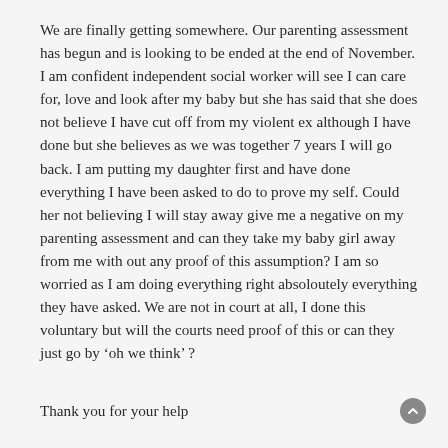We are finally getting somewhere. Our parenting assessment has begun and is looking to be ended at the end of November. I am confident independent social worker will see I can care for, love and look after my baby but she has said that she does not believe I have cut off from my violent ex although I have done but she believes as we was together 7 years I will go back. I am putting my daughter first and have done everything I have been asked to do to prove my self. Could her not believing I will stay away give me a negative on my parenting assessment and can they take my baby girl away from me with out any proof of this assumption? I am so worried as I am doing everything right absoloutely everything they have asked. We are not in court at all, I done this voluntary but will the courts need proof of this or can they just go by ‘oh we think’ ?
Thank you for your help